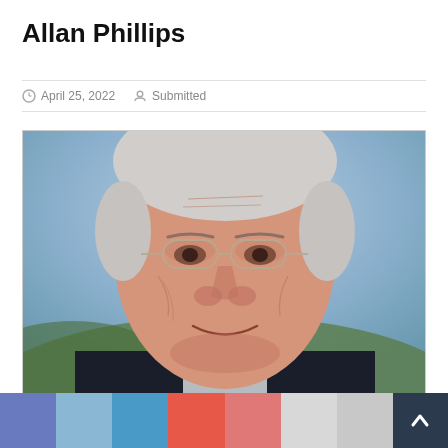Allan Phillips
April 25, 2022   Submitted
[Figure (photo): Close-up portrait of an elderly man with white hair, wire-rimmed glasses, deep facial wrinkles, and a warm smile. He is wearing a dark suit jacket and white shirt. Background is blurred outdoor scenery.]
[Figure (infographic): Bottom navigation bar with color swatches: medium blue/violet, light blue, medium blue, coral/salmon red, salmon red, light gray, light gray, and a dark navy back-to-top button with a white upward arrow.]